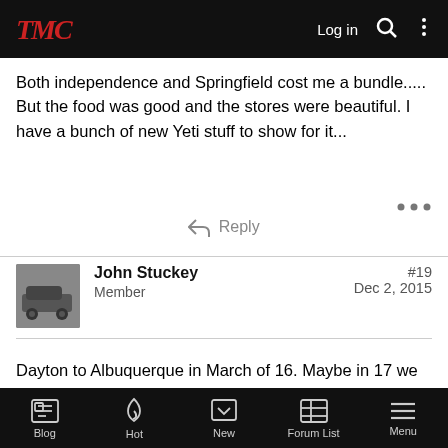TMC — Log in
Both independence and Springfield cost me a bundle..... But the food was good and the stores were beautiful. I have a bunch of new Yeti stuff to show for it...
Reply
John Stuckey — Member — #19 — Dec 2, 2015
Dayton to Albuquerque in March of 16. Maybe in 17 we can take I44 SC all the way!
Pick up MS in Columbus, OH on 12/4/15 🙂) 8AM but who's counting.
Blog | Hot | New | Forum List | Menu